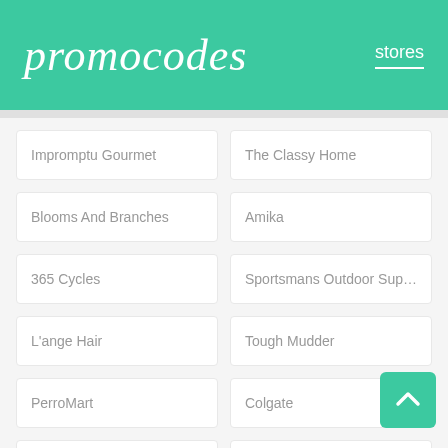promocodes
stores
Impromptu Gourmet
The Classy Home
Blooms And Branches
Amika
365 Cycles
Sportsmans Outdoor Super...
L'ange Hair
Tough Mudder
PerroMart
Colgate
Tnte Sales
Desert Tech
Maurices
Zps Store